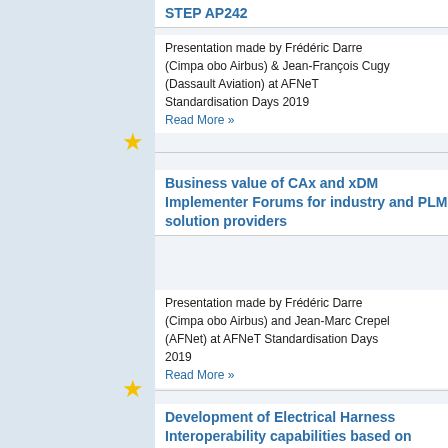STEP AP242
Presentation made by Frédéric Darre (Cimpa obo Airbus) & Jean-François Cugy (Dassault Aviation) at AFNeT Standardisation Days 2019
Read More »
Business value of CAx and xDM Implementer Forums for industry and PLM solution providers
Presentation made by Frédéric Darre (Cimpa obo Airbus) and Jean-Marc Crepel (AFNet) at AFNeT Standardisation Days 2019
Read More »
Development of Electrical Harness Interoperability capabilities based on STEP AP242 ed2
Presentation made by Sophie Herail (Cimpa obo Airbus) at AFNet Standardisation Days 2019